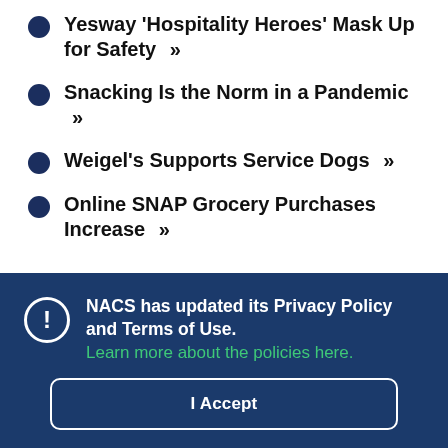Yesway 'Hospitality Heroes' Mask Up for Safety »»
Snacking Is the Norm in a Pandemic »»
Weigel's Supports Service Dogs »»
Online SNAP Grocery Purchases Increase »»
NACS has updated its Privacy Policy and Terms of Use. Learn more about the policies here.
I Accept